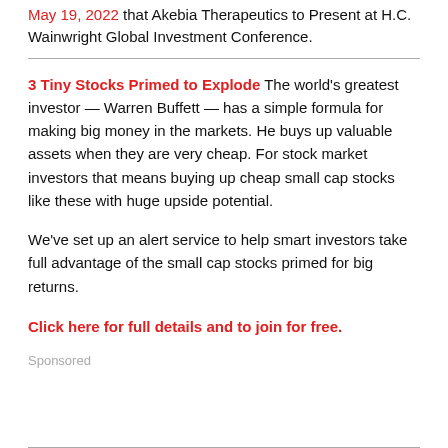May 19, 2022 that Akebia Therapeutics to Present at H.C. Wainwright Global Investment Conference.
3 Tiny Stocks Primed to Explode The world's greatest investor — Warren Buffett — has a simple formula for making big money in the markets. He buys up valuable assets when they are very cheap. For stock market investors that means buying up cheap small cap stocks like these with huge upside potential.
We've set up an alert service to help smart investors take full advantage of the small cap stocks primed for big returns.
Click here for full details and to join for free.
Sponsored